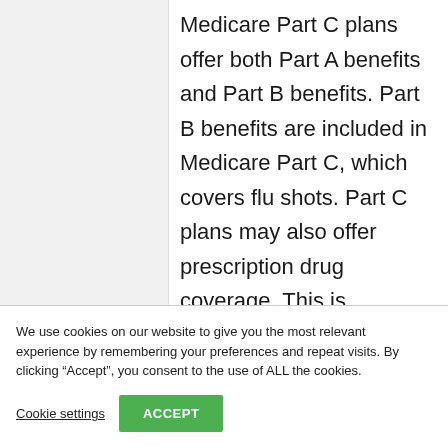Medicare Part C plans offer both Part A benefits and Part B benefits. Part B benefits are included in Medicare Part C, which covers flu shots. Part C plans may also offer prescription drug coverage. This is generally covered under Medicare Part D...
We use cookies on our website to give you the most relevant experience by remembering your preferences and repeat visits. By clicking “Accept”, you consent to the use of ALL the cookies.
Cookie settings
ACCEPT